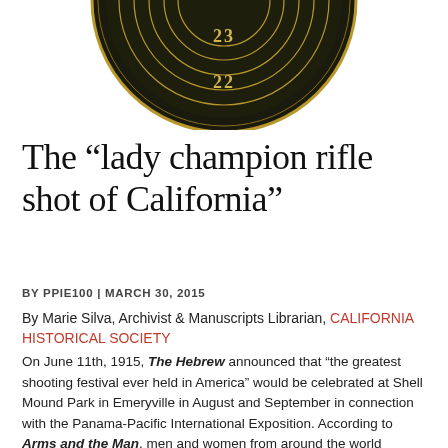[Figure (photo): Bottom portion of a dark circular medal with concentric rings showing numbers 23 and 22, gold/brass colored on dark background]
The “lady champion rifle shot of California”
BY PPIE100 | MARCH 30, 2015
By Marie Silva, Archivist & Manuscripts Librarian, CALIFORNIA HISTORICAL SOCIETY
On June 11th, 1915, The Hebrew announced that “the greatest shooting festival ever held in America” would be celebrated at Shell Mound Park in Emeryville in August and September in connection with the Panama-Pacific International Exposition. According to Arms and the Man, men and women from around the world evinced a “lively interest” in the upcoming Grand Prize Shooting Tournament, in part due to “the war in Europe, the revolution in Mexico and other disturbances between warring nations which emphasize the vital importance of superior marksmanship” (June 10, 1915).